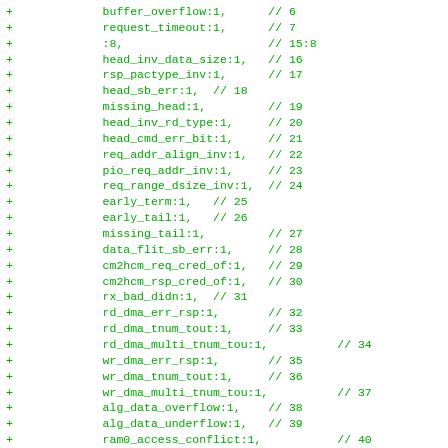+ buffer_overflow:1, // 6
+ request_timeout:1, // 7
+ :8, // 15:8
+ head_inv_data_size:1, // 16
+ rsp_pactype_inv:1, // 17
+ head_sb_err:1, // 18
+ missing_head:1, // 19
+ head_inv_rd_type:1, // 20
+ head_cmd_err_bit:1, // 21
+ req_addr_align_inv:1, // 22
+ pio_req_addr_inv:1, // 23
+ req_range_dsize_inv:1, // 24
+ early_term:1, // 25
+ early_tail:1, // 26
+ missing_tail:1, // 27
+ data_flit_sb_err:1, // 28
+ cm2hcm_req_cred_of:1, // 29
+ cm2hcm_rsp_cred_of:1, // 30
+ rx_bad_didn:1, // 31
+ rd_dma_err_rsp:1, // 32
+ rd_dma_tnum_tout:1, // 33
+ rd_dma_multi_tnum_tou:1, // 34
+ wr_dma_err_rsp:1, // 35
+ wr_dma_tnum_tout:1, // 36
+ wr_dma_multi_tnum_tou:1, // 37
+ alg_data_overflow:1, // 38
+ alg_data_underflow:1, // 39
+ ram0_access_conflict:1, // 40
+ ram1_access_conflict:1, // 41
+ ram2_access_conflict:1, // 42
+ ram0_perr:1, // 43
+ ram1_perr:1, // 44
+ ram2_perr:1, // 45